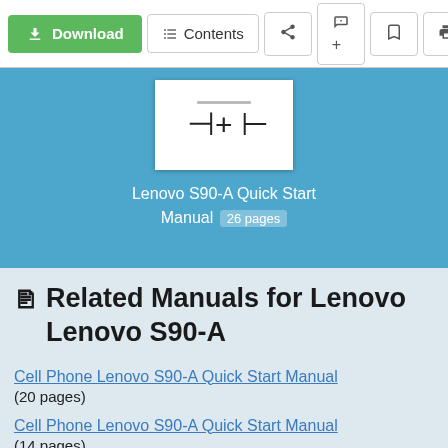[Figure (screenshot): Toolbar with Download button (green), Contents button, and icon buttons for share, add, bookmark, and print]
[Figure (screenshot): Document preview thumbnail showing zoom/resize icons on white card over blue background]
Lenovo S90-A Quick Start Manual  26 pages
Related Manuals for Lenovo Lenovo S90-A
Cell Phone Lenovo S90-A Quick Start Manual
(20 pages)
Cell Phone Lenovo S90-A Quick Start Manual
(14 pages)
Cell Phone Lenovo S90-L Quick Start Manual
(21 pages)
Cell Phone Lenovo S920 User Manual